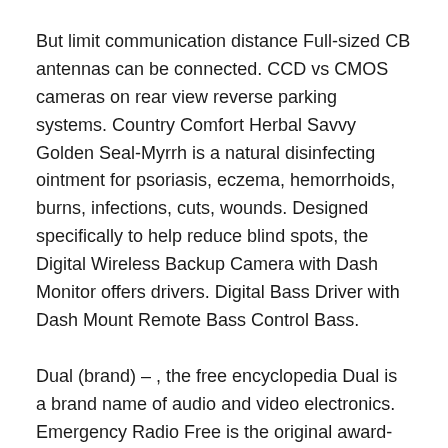But limit communication distance Full-sized CB antennas can be connected. CCD vs CMOS cameras on rear view reverse parking systems. Country Comfort Herbal Savvy Golden Seal-Myrrh is a natural disinfecting ointment for psoriasis, eczema, hemorrhoids, burns, infections, cuts, wounds. Designed specifically to help reduce blind spots, the Digital Wireless Backup Camera with Dash Monitor offers drivers. Digital Bass Driver with Dash Mount Remote Bass Control Bass.
Dual (brand) – , the free encyclopedia Dual is a brand name of audio and video electronics. Emergency Radio Free is the original award-winning police scanner app offering the most extensive database of live police, fire, EMS, railroad. HF MobileIn-Vehicle Ham Amateur Radio Antennas eBay Shop from the world s largest selection and best deals for HF MobileIn-Vehicle.